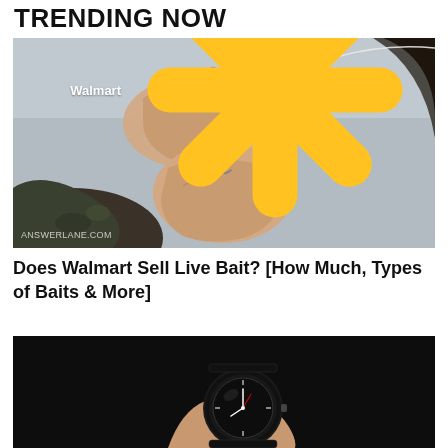TRENDING NOW
[Figure (photo): Person threading a shrimp/bait onto a fishing line with both hands, wearing camouflage sleeve. Walmart branding in bottom right corner. ANSWERLANE.COM watermark in bottom left.]
Does Walmart Sell Live Bait? [How Much, Types of Baits & More]
[Figure (photo): Hand holding a black wristwatch against a dark background.]